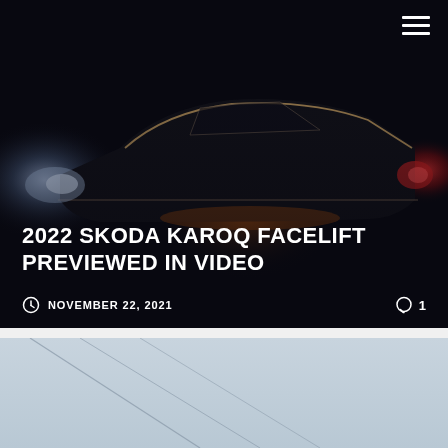[Figure (photo): Dark teaser image of 2022 Skoda Karoq facelift car silhouette at night with headlights and tail lights visible]
2022 SKODA KAROQ FACELIFT PREVIEWED IN VIDEO
NOVEMBER 22, 2021
1
[Figure (photo): Partial image of a car or vehicle with a light gray sky background, showing diagonal lines]